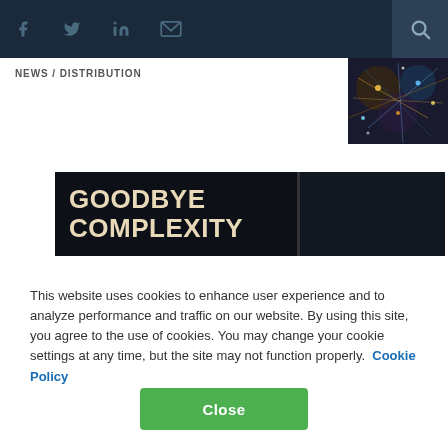f  🐦  in  ✉  🔍
NEWS / DISTRIBUTION
[Figure (photo): Colorful network/fiber optic abstract image in top right corner]
[Figure (illustration): Dark banner with text 'GOODBYE COMPLEXITY' in large bold cream/beige font, split by a thin divider with a dark right panel]
This website uses cookies to enhance user experience and to analyze performance and traffic on our website. By using this site, you agree to the use of cookies. You may change your cookie settings at any time, but the site may not function properly.  Cookie Policy
Close